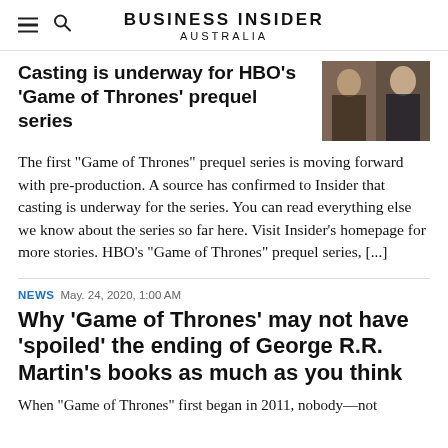BUSINESS INSIDER AUSTRALIA
Casting is underway for HBO's 'Game of Thrones' prequel series
[Figure (photo): Two women with light hair from Game of Thrones]
The first “Game of Thrones” prequel series is moving forward with pre-production. A source has confirmed to Insider that casting is underway for the series. You can read everything else we know about the series so far here. Visit Insider’s homepage for more stories. HBO’s “Game of Thrones” prequel series, […]
NEWS  May. 24, 2020, 1:00 AM
Why ‘Game of Thrones’ may not have ‘spoiled’ the ending of George R.R. Martin’s books as much as you think
When “Game of Thrones” first began in 2011, nobody—not